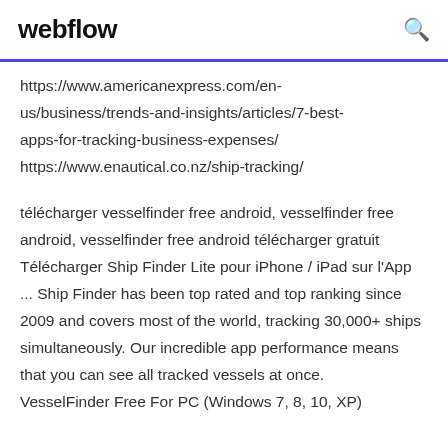webflow [search icon]
https://www.americanexpress.com/en-us/business/trends-and-insights/articles/7-best-apps-for-tracking-business-expenses/
https://www.enautical.co.nz/ship-tracking/
télécharger vesselfinder free android, vesselfinder free android, vesselfinder free android télécharger gratuit Télécharger Ship Finder Lite pour iPhone / iPad sur l'App ... Ship Finder has been top rated and top ranking since 2009 and covers most of the world, tracking 30,000+ ships simultaneously. Our incredible app performance means that you can see all tracked vessels at once. VesselFinder Free For PC (Windows 7, 8, 10, XP)